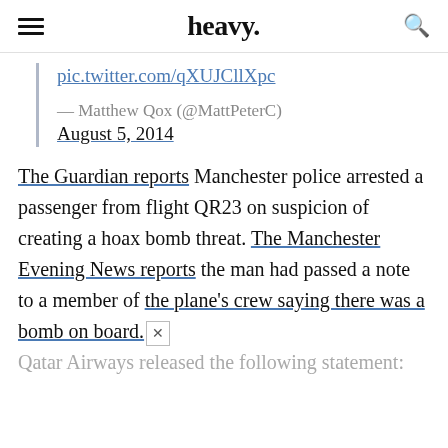heavy.
pic.twitter.com/qXUJCllXpc
— Matthew Qox (@MattPeterC)
August 5, 2014
The Guardian reports Manchester police arrested a passenger from flight QR23 on suspicion of creating a hoax bomb threat. The Manchester Evening News reports the man had passed a note to a member of the plane's crew saying there was a bomb on board. × Qatar Airways released the following statement: